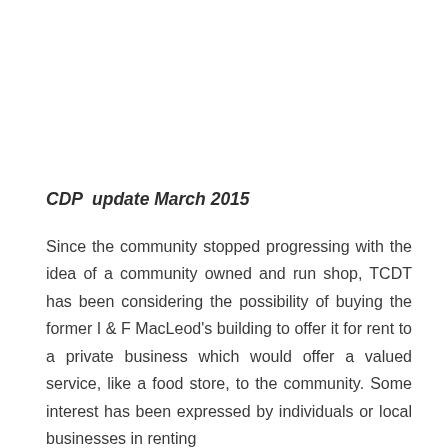CDP  update March 2015
Since the community stopped progressing with the idea of a community owned and run shop, TCDT has been considering the possibility of buying the former I & F MacLeod's building to offer it for rent to a private business which would offer a valued service, like a food store, to the community. Some interest has been expressed by individuals or local businesses in renting